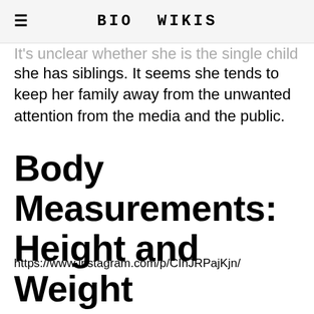≡  BIO WIKIS
It's unclear whether she is the single child of her parents or she has siblings. It seems she tends to keep her family away from the unwanted attention from the media and the public.
Body Measurements: Height and Weight
https://www.instagram.com/p/CIhJRPajKjn/